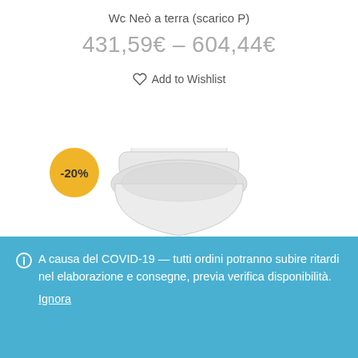Wc Neò a terra (scarico P)
431,59€ – 604,44€
Add to Wishlist
[Figure (photo): White toilet with closed seat lid, partial view showing top and upper portion against white background, with -20% yellow circular badge overlay]
A causa del COVID-19 — tutti ordini potranno subire ritardi nel elaborazione e consegne, previa verifica disponibilità. Ignora